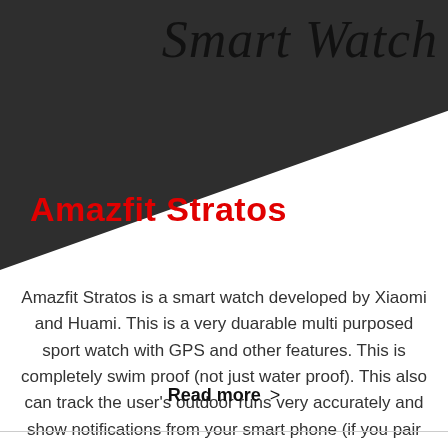[Figure (illustration): Dark triangle/banner graphic with script text 'Smart Watch' in top right and product title 'Amazfit Stratos' in red on the dark area]
Amazfit Stratos
Amazfit Stratos is a smart watch developed by Xiaomi and Huami. This is a very duarable multi purposed sport watch with GPS and other features. This is completely swim proof (not just water proof). This also can track the user's outdoor runs very accurately and show notifications from your smart phone (if you pair the watch...
Read more >